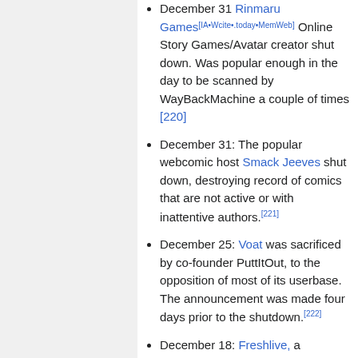December 31 Rinmaru Games[IA·Wcite·.today·MemWeb] Online Story Games/Avatar creator shut down. Was popular enough in the day to be scanned by WayBackMachine a couple of times [220]
December 31: The popular webcomic host Smack Jeeves shut down, destroying record of comics that are not active or with inattentive authors.[221]
December 25: Voat was sacrificed by co-founder PuttItOut, to the opposition of most of its userbase. The announcement was made four days prior to the shutdown.[222]
December 18: Freshlive, a Japanese video platform. Channels got a few more weeks to download their